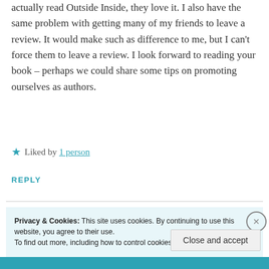actually read Outside Inside, they love it. I also have the same problem with getting many of my friends to leave a review. It would make such as difference to me, but I can't force them to leave a review. I look forward to reading your book – perhaps we could share some tips on promoting ourselves as authors.
★ Liked by 1 person
REPLY
Privacy & Cookies: This site uses cookies. By continuing to use this website, you agree to their use. To find out more, including how to control cookies, see here: Cookie Policy
Close and accept